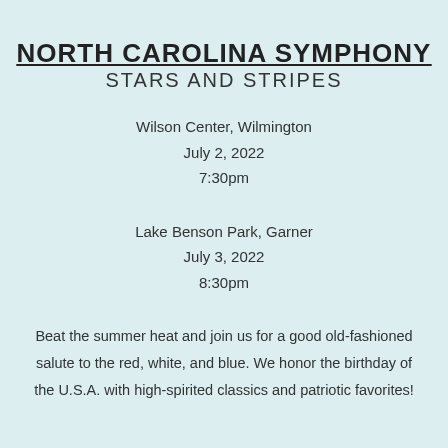NORTH CAROLINA SYMPHONY
STARS AND STRIPES
Wilson Center, Wilmington
July 2, 2022
7:30pm
Lake Benson Park, Garner
July 3, 2022
8:30pm
Beat the summer heat and join us for a good old-fashioned salute to the red, white, and blue. We honor the birthday of the U.S.A. with high-spirited classics and patriotic favorites!